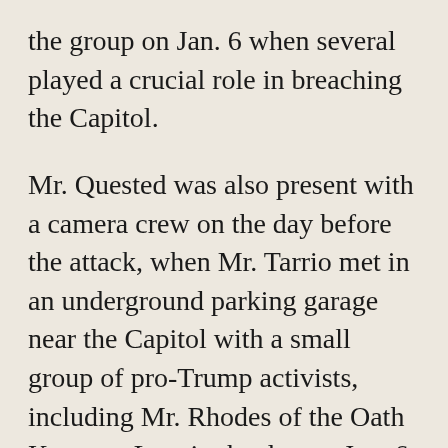the group on Jan. 6 when several played a crucial role in breaching the Capitol.
Mr. Quested was also present with a camera crew on the day before the attack, when Mr. Tarrio met in an underground parking garage near the Capitol with a small group of pro-Trump activists, including Mr. Rhodes of the Oath Keepers. Late in the day on Jan. 6, Mr. Quested and his crew were with Mr. Tarrio in Baltimore, filming him as he responded in real time to news about the riot.